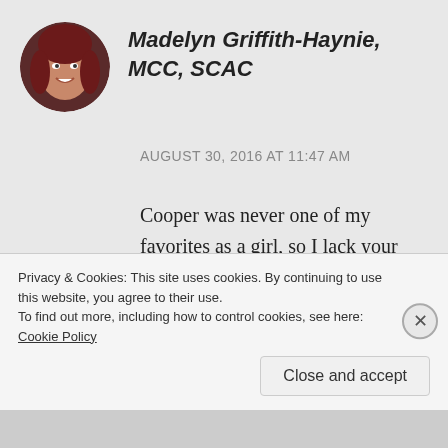[Figure (photo): Circular avatar photo of a woman with dark hair, smiling, with reddish-brown hair.]
Madelyn Griffith-Haynie, MCC, SCAC
AUGUST 30, 2016 AT 11:47 AM
Cooper was never one of my favorites as a girl, so I lack your excuse, myself. 🙂 For what it's worth, I don't find your posts windy.
What is most tiresome to me is
Privacy & Cookies: This site uses cookies. By continuing to use this website, you agree to their use.
To find out more, including how to control cookies, see here: Cookie Policy
Close and accept